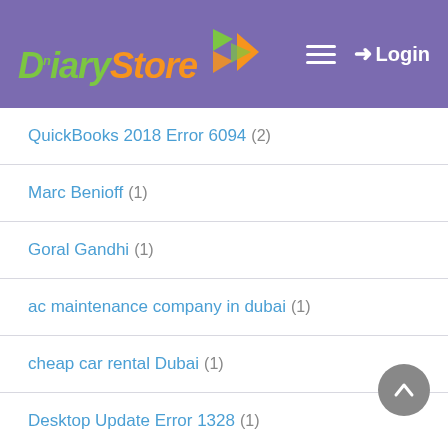Diary Store — Login
QuickBooks 2018 Error 6094 (2)
Marc Benioff (1)
Goral Gandhi (1)
ac maintenance company in dubai (1)
cheap car rental Dubai (1)
Desktop Update Error 1328 (1)
QuickBooks error 1606 (1)
QuickBooks Intuit Error 3120 (1)
Poem (1)
QuickBooks firewall error (1)
#quickbooks tax form (1)
wedding photography trends (2)
best car rental in Dubai (1)